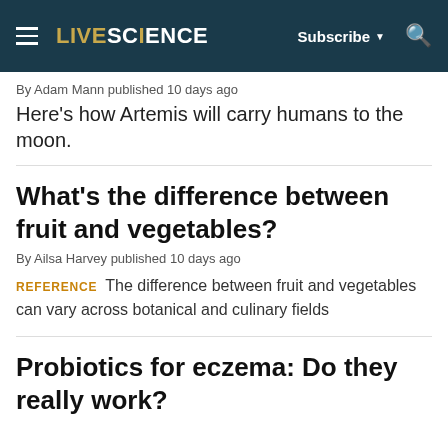LIVESCIENCE | Subscribe | Search
By Adam Mann published 10 days ago
Here's how Artemis will carry humans to the moon.
What's the difference between fruit and vegetables?
By Ailsa Harvey published 10 days ago
REFERENCE   The difference between fruit and vegetables can vary across botanical and culinary fields
Probiotics for eczema: Do they really work?